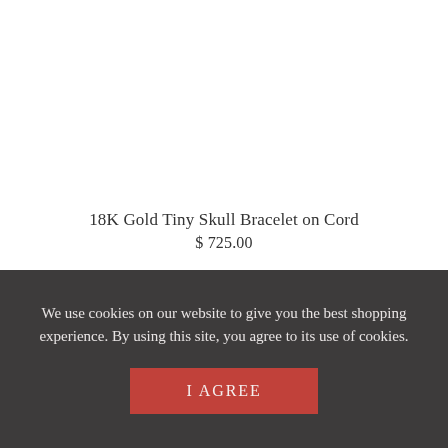18K Gold Tiny Skull Bracelet on Cord
$ 725.00
We use cookies on our website to give you the best shopping experience. By using this site, you agree to its use of cookies.
I AGREE